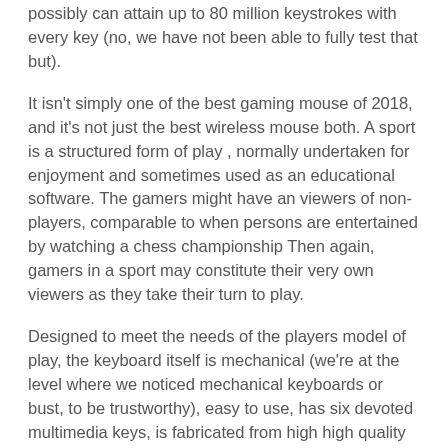possibly can attain up to 80 million keystrokes with every key (no, we have not been able to fully test that but).
It isn't simply one of the best gaming mouse of 2018, and it's not just the best wireless mouse both. A sport is a structured form of play , normally undertaken for enjoyment and sometimes used as an educational software. The gamers might have an viewers of non-players, comparable to when persons are entertained by watching a chess championship Then again, gamers in a sport may constitute their very own viewers as they take their turn to play.
Designed to meet the needs of the players model of play, the keyboard itself is mechanical (we're at the level where we noticed mechanical keyboards or bust, to be trustworthy), easy to use, has six devoted multimedia keys, is fabricated from high high quality